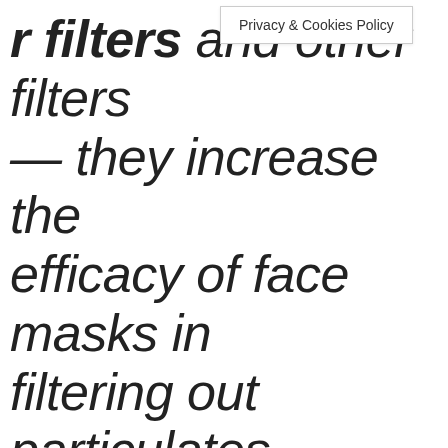r filters and other filters — they increase the efficacy of face masks in filtering out particulates. If you're shopping for a face mask with a filter or for standalone filters, medical experts share tips on what to know and set expectations on …
Privacy & Cookies Policy